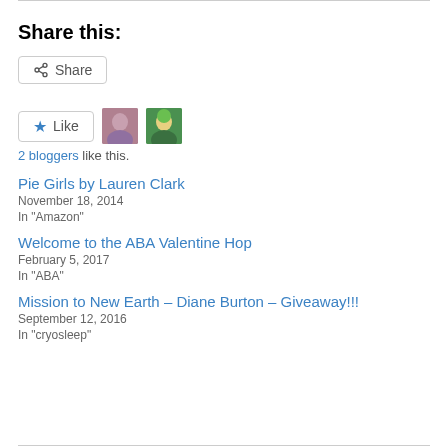Share this:
Share
Like
2 bloggers like this.
Pie Girls by Lauren Clark
November 18, 2014
In "Amazon"
Welcome to the ABA Valentine Hop
February 5, 2017
In "ABA"
Mission to New Earth – Diane Burton – Giveaway!!!
September 12, 2016
In "cryosleep"